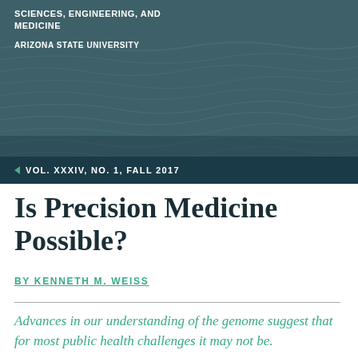SCIENCES, ENGINEERING, AND MEDICINE
ARIZONA STATE UNIVERSITY
VOL. XXXIV, NO. 1, FALL 2017
Is Precision Medicine Possible?
BY KENNETH M. WEISS
Advances in our understanding of the genome suggest that for most public health challenges it may not be.